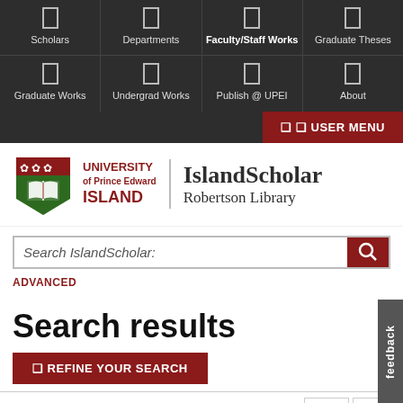[Figure (screenshot): University navigation bar with icons for Scholars, Departments, Faculty/Staff Works, Graduate Theses, Graduate Works, Undergrad Works, Publish @ UPEI, About, and a USER MENU button]
[Figure (logo): University of Prince Edward Island shield logo with IslandScholar Robertson Library text]
Search IslandScholar:
ADVANCED
Search results
❑ REFINE YOUR SEARCH
1  2  3  4  5  ...  NEXT ›  LAST »